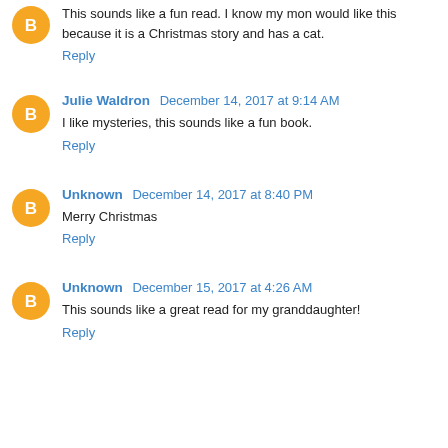This sounds like a fun read. I know my mon would like this because it is a Christmas story and has a cat.
Reply
Julie Waldron December 14, 2017 at 9:14 AM
I like mysteries, this sounds like a fun book.
Reply
Unknown December 14, 2017 at 8:40 PM
Merry Christmas
Reply
Unknown December 15, 2017 at 4:26 AM
This sounds like a great read for my granddaughter!
Reply